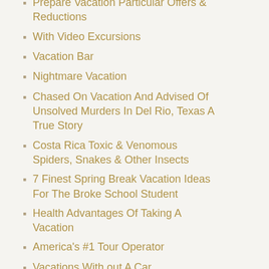Prepare Vacation Particular Offers & Reductions
With Video Excursions
Vacation Bar
Nightmare Vacation
Chased On Vacation And Advised Of Unsolved Murders In Del Rio, Texas A True Story
Costa Rica Toxic & Venomous Spiders, Snakes & Other Insects
7 Finest Spring Break Vacation Ideas For The Broke School Student
Health Advantages Of Taking A Vacation
America's #1 Tour Operator
Vacations With out A Car
Top 5 Neighbourhoods in Amsterdam
How I Received Out Of It
Low cost Vacations From Canada